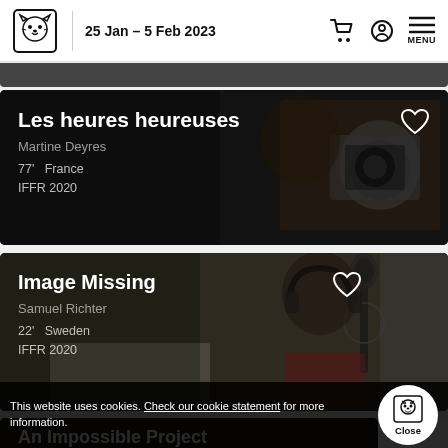25 Jan – 5 Feb 2023
[Figure (screenshot): Film card for Les heures heureuses showing a dark photo of a person with a camera. Title: Les heures heureuses, Director: Martine Deyres, Duration: 77', Country: France, Festival: IFFR 2020. Heart/favourite icon in top right.]
[Figure (screenshot): Film card for Image Missing showing a dark photo of a person with headphones at a microphone. Title: Image Missing, Director: Samuel Richter, Duration: 22', Country: Sweden, Festival: IFFR 2020. Heart/favourite icon in top right.]
[Figure (screenshot): Partially visible film card for An Impossible Project. Director: Jern Meurer, Duration: 93', Country: Germany.]
This website uses cookies. Check our cookie statement for more information.